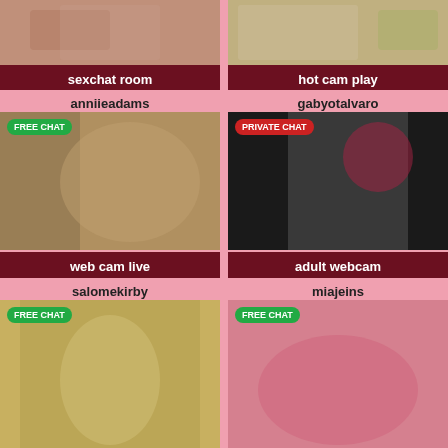[Figure (photo): Top-left photo: person lying on bed]
sexchat room
[Figure (photo): Top-right photo: person outdoors with fruit basket]
hot cam play
anniieadams
[Figure (photo): Middle-left photo: FREE CHAT badge, woman in black lingerie on bed]
web cam live
gabyotalvaro
[Figure (photo): Middle-right photo: PRIVATE CHAT badge, woman in black with blue hair and red hat]
adult webcam
salomekirby
[Figure (photo): Bottom-left photo: FREE CHAT badge, woman in white in field]
miajeins
[Figure (photo): Bottom-right photo: FREE CHAT badge, woman in red on pink couch]